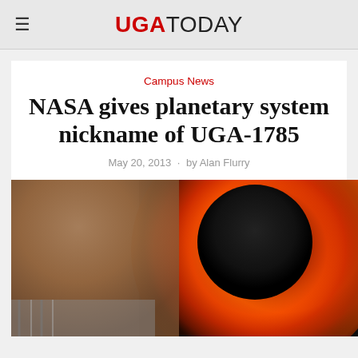UGA TODAY
Campus News
NASA gives planetary system nickname of UGA-1785
May 20, 2013 · by Alan Flurry
[Figure (photo): A man smiling on the left side of the image, with a dramatic astronomical image of a planet transiting a star (showing a dark circular body against a glowing red-orange solar corona) in the background on the right.]